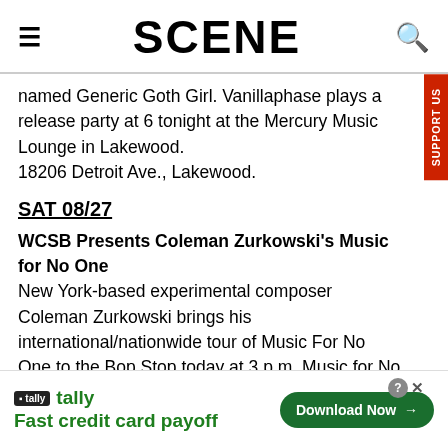SCENE
named Generic Goth Girl. Vanillaphase plays a release party at 6 tonight at the Mercury Music Lounge in Lakewood.
18206 Detroit Ave., Lakewood.
SAT 08/27
WCSB Presents Coleman Zurkowski's Music for No One New York-based experimental composer Coleman Zurkowski brings his international/nationwide tour of Music For No One to the Bop Stop today at 3 p.m. Music for No One is a concert-length work for piano, cello,
[Figure (advertisement): Tally app advertisement: Fast credit card payoff, Download Now button]